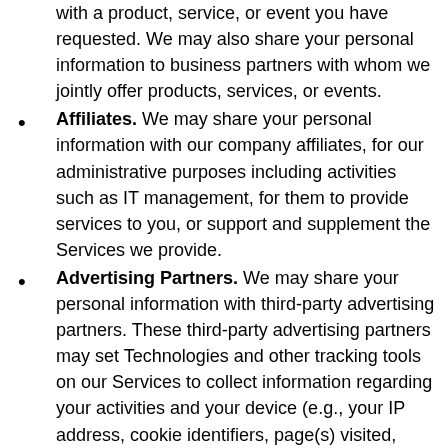with a product, service, or event you have requested. We may also share your personal information to business partners with whom we jointly offer products, services, or events.
Affiliates. We may share your personal information with our company affiliates, for our administrative purposes including activities such as IT management, for them to provide services to you, or support and supplement the Services we provide.
Advertising Partners. We may share your personal information with third-party advertising partners. These third-party advertising partners may set Technologies and other tracking tools on our Services to collect information regarding your activities and your device (e.g., your IP address, cookie identifiers, page(s) visited, location, time of day). These advertising partners may use this information (and similar information collected from other services) for purposes of delivering